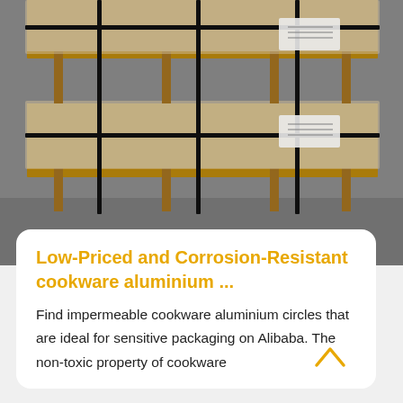[Figure (photo): Stacked pallets of aluminium sheets wrapped in plastic and secured with black strapping bands, stored in an industrial warehouse setting.]
Low-Priced and Corrosion-Resistant cookware aluminium ...
Find impermeable cookware aluminium circles that are ideal for sensitive packaging on Alibaba. The non-toxic property of cookware